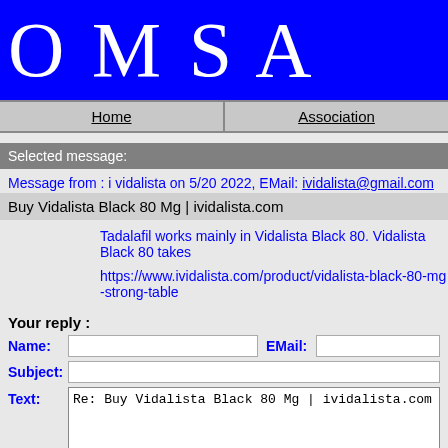OMSA
Home | Association
Selected message:
Message from : i vidalista on 5/20 2022, EMail: ividalista@gmail.com
Buy Vidalista Black 80 Mg | ividalista.com
Tadalafil works mainly in Vidalista Black 80. Vidalista Black 80 takes
https://www.ividalista.com/product/vidalista-black-80-mg-strong-table
Your reply :
Name:
EMail:
Subject:
Text:
Re: Buy Vidalista Black 80 Mg | ividalista.com